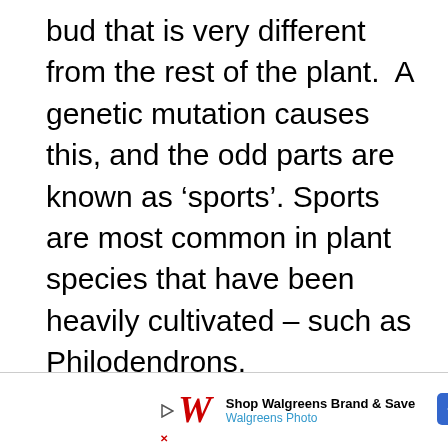bud that is very different from the rest of the plant.  A genetic mutation causes this, and the odd parts are known as ‘sports’. Sports are most common in plant species that have been heavily cultivated – such as Philodendrons.
[Figure (other): Advertisement banner for Walgreens Brand & Save / Walgreens Photo with Walgreens logo, play button, close button, and navigation diamond icon]